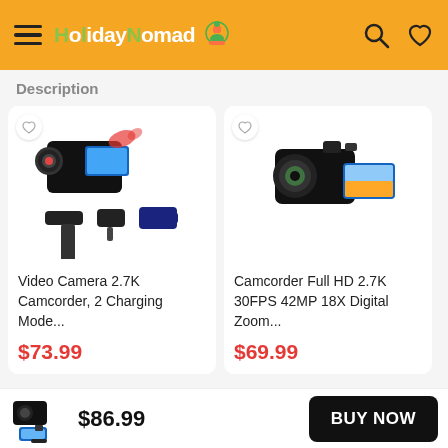HolidayNomad
Description
[Figure (photo): Video camera 2.7K camcorder with accessories: remote control and battery charger, displayed with red water splash action scene]
Video Camera 2.7K Camcorder, 2 Charging Mode...
$73.99
[Figure (photo): Camcorder full HD in black with large lens and screen showing landscape]
Camcorder Full HD 2.7K 30FPS 42MP 18X Digital Zoom...
$69.99
[Figure (photo): Small action camera with mount accessory thumbnail]
$86.99
BUY NOW